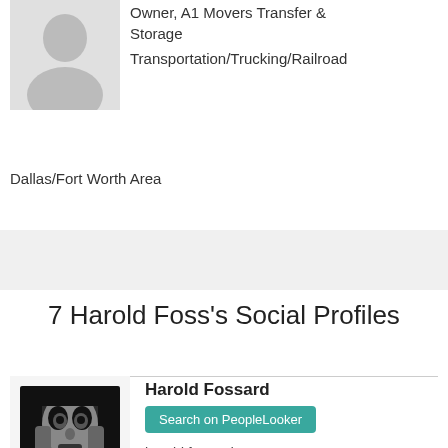[Figure (photo): Gray placeholder avatar silhouette for a person profile]
Owner, A1 Movers Transfer & Storage
Transportation/Trucking/Railroad
Dallas/Fort Worth Area
7 Harold Foss's Social Profiles
[Figure (photo): Black and white halftone portrait photo of Harold Fossard]
Harold Fossard
Search on PeopleLooker
harold.fossard
Lives in Miami, Florida